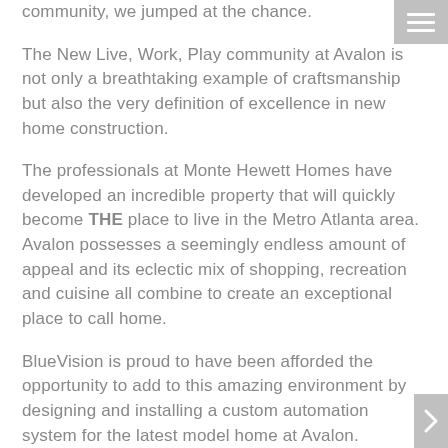community, we jumped at the chance.
The New Live, Work, Play community at Avalon is not only a breathtaking example of craftsmanship but also the very definition of excellence in new home construction.
The professionals at Monte Hewett Homes have developed an incredible property that will quickly become THE place to live in the Metro Atlanta area. Avalon possesses a seemingly endless amount of appeal and its eclectic mix of shopping, recreation and cuisine all combine to create an exceptional place to call home.
BlueVision is proud to have been afforded the opportunity to add to this amazing environment by designing and installing a custom automation system for the latest model home at Avalon.
This demo system features robust lighting and climate control, integrated security system and a whole-home distributed audio and video system. Additionally, this system features an outdoor audio system and a home...